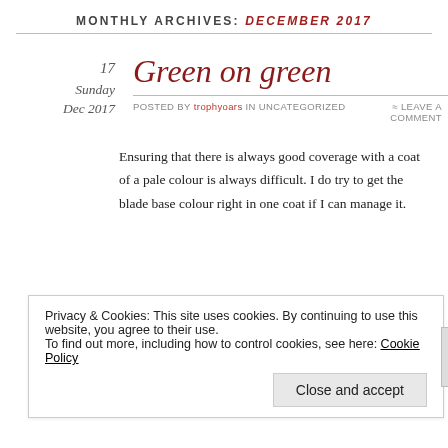MONTHLY ARCHIVES: DECEMBER 2017
17
Sunday
Dec 2017
Green on green
Posted by trophyoars in Uncategorized   ≈ Leave a comment
Ensuring that there is always good coverage with a coat of a pale colour is always difficult. I do try to get the blade base colour right in one coat if I can manage it.
Privacy & Cookies: This site uses cookies. By continuing to use this website, you agree to their use.
To find out more, including how to control cookies, see here: Cookie Policy
Close and accept